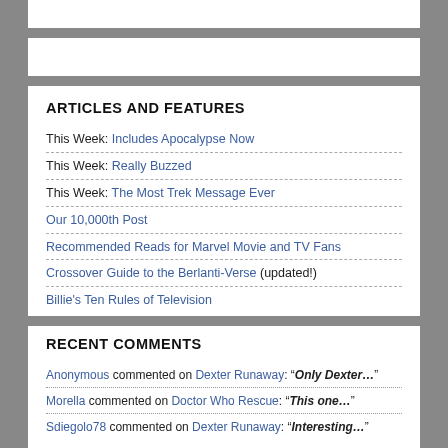ARTICLES AND FEATURES
This Week: Includes Apocalypse Now
This Week: Really Buzzed
This Week: The Most Trek Message Ever
Our 10,000th Post
Recommended Reads for Marvel Movie and TV Fans
Crossover Guide to the Berlanti-Verse (updated!)
Billie's Ten Rules of Television
RECENT COMMENTS
Anonymous commented on Dexter Runaway: "Only Dexter…"
Morella commented on Doctor Who Rescue: "This one…"
Sdiegolo78 commented on Dexter Runaway: "Interesting…"